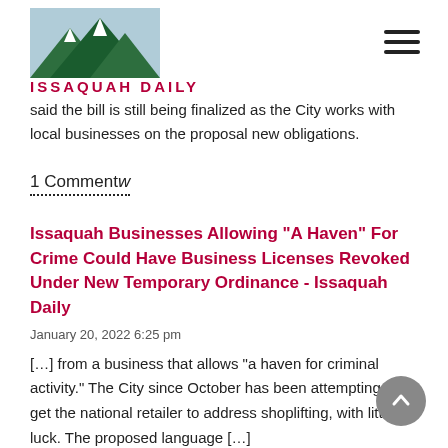ISSAQUAH DAILY
said the bill is still being finalized as the City works with local businesses on the proposal new obligations.
1 Commentw
Issaquah Businesses Allowing “A Haven” For Crime Could Have Business Licenses Revoked Under New Temporary Ordinance - Issaquah Daily
January 20, 2022 6:25 pm
[…] from a business that allows “a haven for criminal activity.”  The City since October has been attempting to get the national retailer to address shoplifting, with little luck.  The proposed language […]
Reply